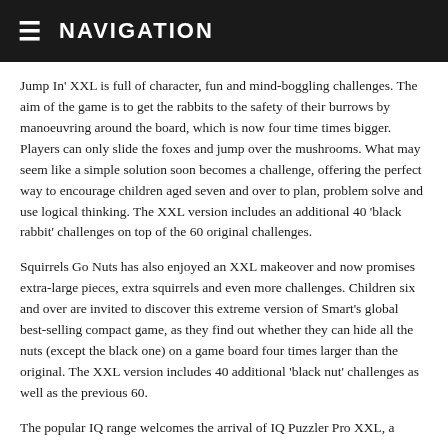≡ NAVIGATION
Jump In' XXL is full of character, fun and mind-boggling challenges. The aim of the game is to get the rabbits to the safety of their burrows by manoeuvring around the board, which is now four time times bigger. Players can only slide the foxes and jump over the mushrooms. What may seem like a simple solution soon becomes a challenge, offering the perfect way to encourage children aged seven and over to plan, problem solve and use logical thinking. The XXL version includes an additional 40 'black rabbit' challenges on top of the 60 original challenges.
Squirrels Go Nuts has also enjoyed an XXL makeover and now promises extra-large pieces, extra squirrels and even more challenges. Children six and over are invited to discover this extreme version of Smart's global best-selling compact game, as they find out whether they can hide all the nuts (except the black one) on a game board four times larger than the original. The XXL version includes 40 additional 'black nut' challenges as well as the previous 60.
The popular IQ range welcomes the arrival of IQ Puzzler Pro XXL, a